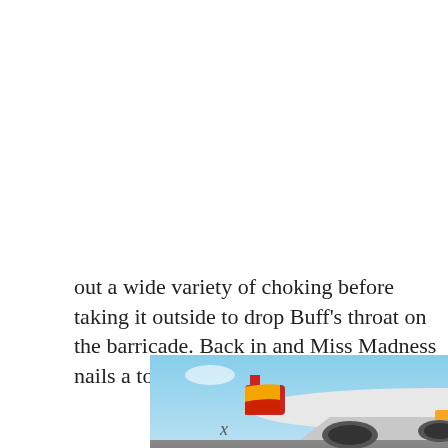out a wide variety of choking before taking it outside to drop Buff's throat on the barricade. Back in and Miss Madness nails a top rope
[Figure (photo): A cargo aircraft being loaded on a tarmac, with colorful freight containers. An advertisement banner reading 'WITHOUT REGARD TO POLITICS, RELIGION, OR ABILITY TO PAY' is overlaid on the right side against a dark navy background.]
x